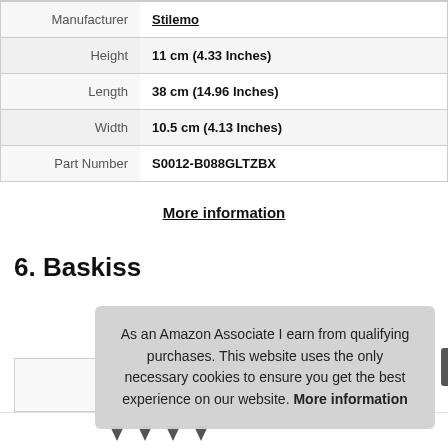|  |  |
| --- | --- |
| Manufacturer | Stilemo |
| Height | 11 cm (4.33 Inches) |
| Length | 38 cm (14.96 Inches) |
| Width | 10.5 cm (4.13 Inches) |
| Part Number | S0012-B088GLTZBX |
More information
6. Baskiss
As an Amazon Associate I earn from qualifying purchases. This website uses the only necessary cookies to ensure you get the best experience on our website. More information